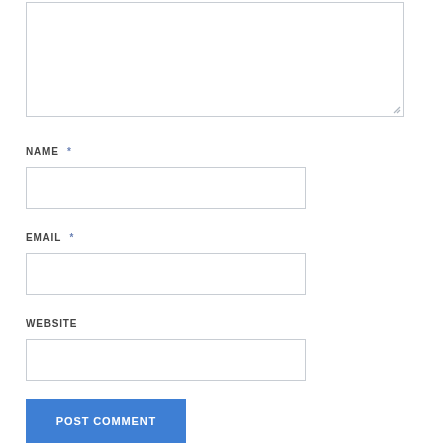[Figure (screenshot): Large empty textarea with resize handle at bottom-right corner]
NAME *
[Figure (screenshot): Empty text input field for name]
EMAIL *
[Figure (screenshot): Empty text input field for email]
WEBSITE
[Figure (screenshot): Empty text input field for website]
POST COMMENT